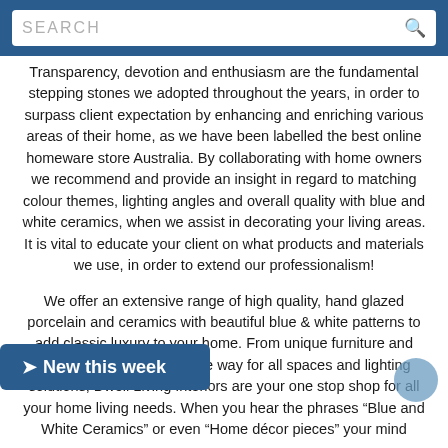SEARCH
Transparency, devotion and enthusiasm are the fundamental stepping stones we adopted throughout the years, in order to surpass client expectation by enhancing and enriching various areas of their home, as we have been labelled the best online homeware store Australia. By collaborating with home owners we recommend and provide an insight in regard to matching colour themes, lighting angles and overall quality with blue and white ceramics, when we assist in decorating your living areas. It is vital to educate your client on what products and materials we use, in order to extend our professionalism!
We offer an extensive range of high quality, hand glazed porcelain and ceramics with beautiful blue & white patterns to add classic luxury to your home. From unique furniture and decorator collections all the way for all spaces and lighting solutions; Dwell Living Interiors are your one stop shop for all your home living needs. When you hear the phrases “Blue and White Ceramics” or even “Home décor pieces” your mind
[Figure (other): New this week button with arrow icon, dark blue background]